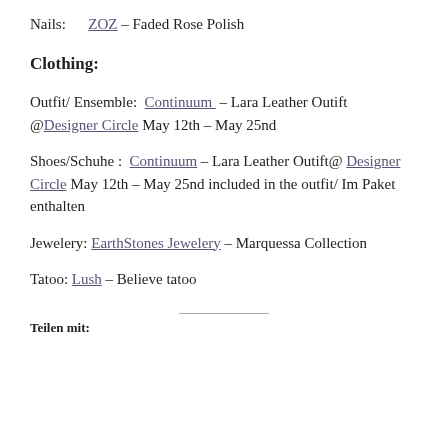Nails:      ZOZ – Faded Rose Polish
Clothing:
Outfit/ Ensemble:  Continuum  – Lara Leather Outift @Designer Circle May 12th – May 25nd
Shoes/Schuhe :  Continuum – Lara Leather Outift@ Designer Circle May 12th – May 25nd included in the outfit/ Im Paket enthalten
Jewelery: EarthStones Jewelery – Marquessa Collection
Tatoo: Lush – Believe tatoo
Teilen mit: